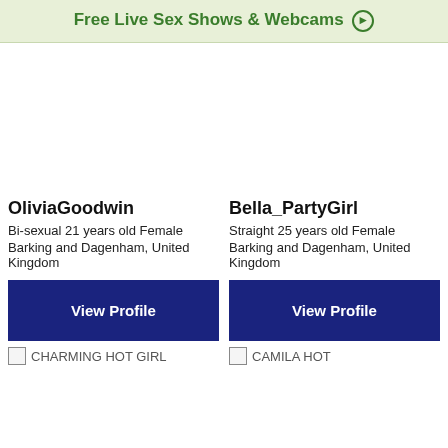Free Live Sex Shows & Webcams ➔
OliviaGoodwin
Bi-sexual 21 years old Female
Barking and Dagenham, United Kingdom
Bella_PartyGirl
Straight 25 years old Female
Barking and Dagenham, United Kingdom
[Figure (other): View Profile button for OliviaGoodwin]
[Figure (other): View Profile button for Bella_PartyGirl]
[Figure (photo): Broken image placeholder labeled CHARMING HOT GIRL]
[Figure (photo): Broken image placeholder labeled CAMILA HOT]